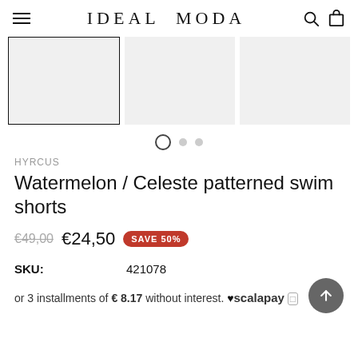IDEAL MODA
[Figure (photo): Three product image thumbnails in a row; the leftmost has a black border indicating it is selected, the other two are plain light gray placeholders.]
[Figure (other): Carousel pagination dots: one open circle (active) and two filled gray dots.]
HYRCUS
Watermelon / Celeste patterned swim shorts
€49,00  €24,50  SAVE 50%
SKU:  421078
or 3 installments of € 8.17 without interest. ♥ scalapay